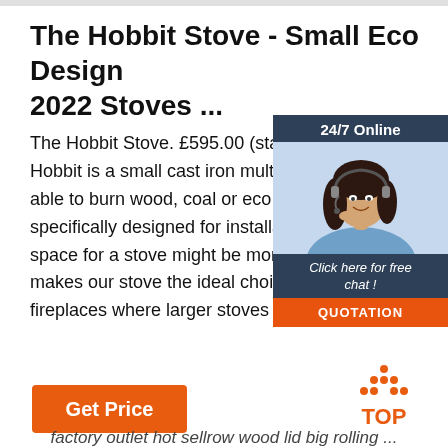The Hobbit Stove - Small Eco Design 2022 Stoves ...
The Hobbit Stove. £595.00 (standard Hobbit is a small cast iron multi-fuel st able to burn wood, coal or eco logs, a specifically designed for installations w space for a stove might be more limite makes our stove the ideal choice for s fireplaces where larger stoves …
[Figure (photo): Chat widget showing a smiling woman with headset, '24/7 Online' header in dark blue, 'Click here for free chat!' text, and an orange 'QUOTATION' button]
Get Price
[Figure (logo): TOP logo with orange dots arranged in a triangle above the word TOP in orange]
factory outlet hot sellrow wood lid big rolling ...